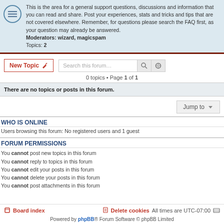This is the area for a general support questions, discussions and information that you can read and share. Post your experiences, stats and tricks and tips that are not covered elsewhere. Remember, for questions please search the FAQ first, as your question may already be answered. Moderators: wizard, magicspam Topics: 2
New Topic
Search this forum…
0 topics • Page 1 of 1
There are no topics or posts in this forum.
Jump to
WHO IS ONLINE
Users browsing this forum: No registered users and 1 guest
FORUM PERMISSIONS
You cannot post new topics in this forum
You cannot reply to topics in this forum
You cannot edit your posts in this forum
You cannot delete your posts in this forum
You cannot post attachments in this forum
Board index   Delete cookies   All times are UTC-07:00    Powered by phpBB® Forum Software © phpBB Limited